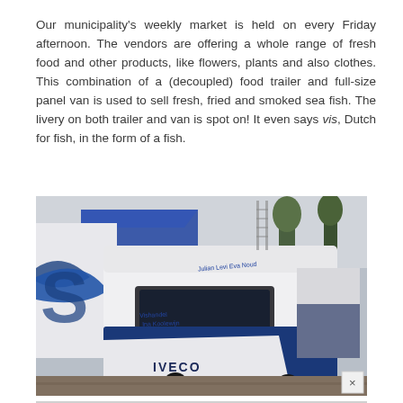Our municipality's weekly market is held on every Friday afternoon. The vendors are offering a whole range of fresh food and other products, like flowers, plants and also clothes. This combination of a (decoupled) food trailer and full-size panel van is used to sell fresh, fried and smoked sea fish. The livery on both trailer and van is spot on! It even says vis, Dutch for fish, in the form of a fish.
[Figure (photo): A white and blue Iveco panel van with custom fish business livery (Vishandel Ina Koolewijn), parked at an outdoor market. Names 'Julian Levi Eva Noud' written on the van roof area. Background shows market tents and trees.]
[Figure (photo): Partial view of the bottom of the same or similar Iveco van, partially visible at the bottom of the page.]